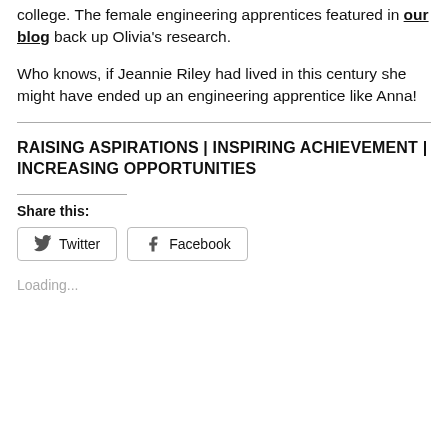college. The female engineering apprentices featured in our blog back up Olivia's research.
Who knows, if Jeannie Riley had lived in this century she might have ended up an engineering apprentice like Anna!
RAISING ASPIRATIONS | INSPIRING ACHIEVEMENT | INCREASING OPPORTUNITIES
Share this:
Twitter   Facebook
Loading...